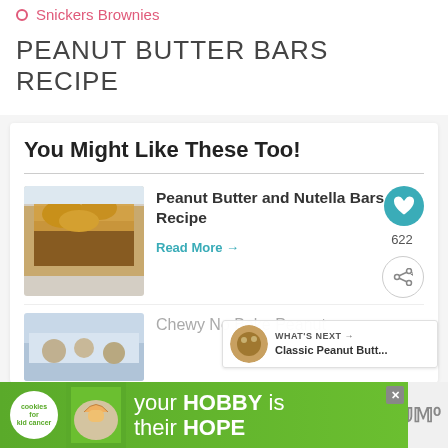Snickers Brownies
PEANUT BUTTER BARS RECIPE
You Might Like These Too!
[Figure (photo): Close-up photo of peanut butter and Nutella bars with crumble topping on a light background]
Peanut Butter and Nutella Bars Recipe
Read More →
622
WHAT'S NEXT → Classic Peanut Butt...
[Figure (photo): Partial view of a chewy no bake peanut butter recipe dish]
Chewy No Bake Peanut
[Figure (infographic): Advertisement banner: cookies for kid cancer - your HOBBY is their HOPE with hands holding a heart-shaped cookie]